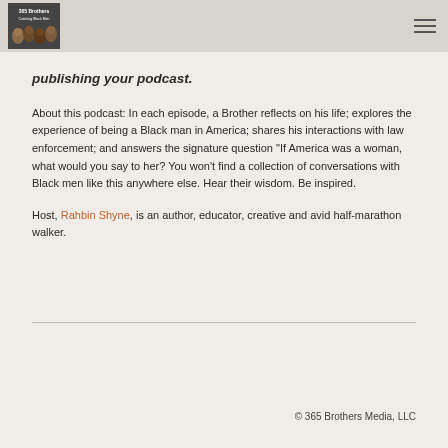365 Brothers | hamburger menu
publishing your podcast.
About this podcast: In each episode, a Brother reflects on his life; explores the experience of being a Black man in America; shares his interactions with law enforcement; and answers the signature question "If America was a woman, what would you say to her? You won't find a collection of conversations with Black men like this anywhere else. Hear their wisdom. Be inspired.
Host, Rahbin Shyne, is an author, educator, creative and avid half-marathon walker.
© 365 Brothers Media, LLC